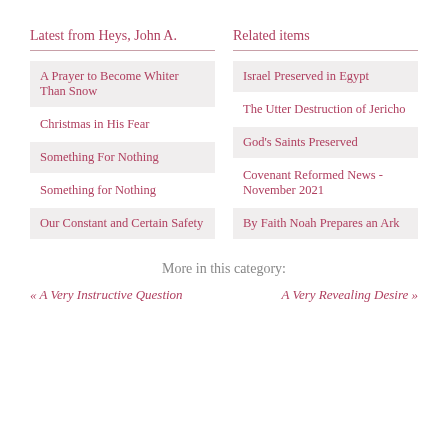Latest from Heys, John A.
Related items
A Prayer to Become Whiter Than Snow
Israel Preserved in Egypt
The Utter Destruction of Jericho
Christmas in His Fear
God's Saints Preserved
Something For Nothing
Covenant Reformed News - November 2021
Something for Nothing
By Faith Noah Prepares an Ark
Our Constant and Certain Safety
More in this category:
« A Very Instructive Question
A Very Revealing Desire »